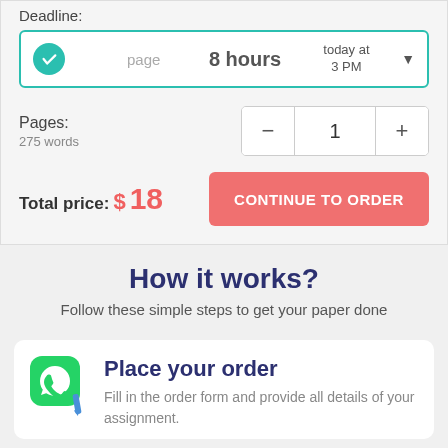Deadline:
page   8 hours   today at 3 PM
Pages:
275 words
1
Total price:  $18
CONTINUE TO ORDER
How it works?
Follow these simple steps to get your paper done
Place your order
Fill in the order form and provide all details of your assignment.